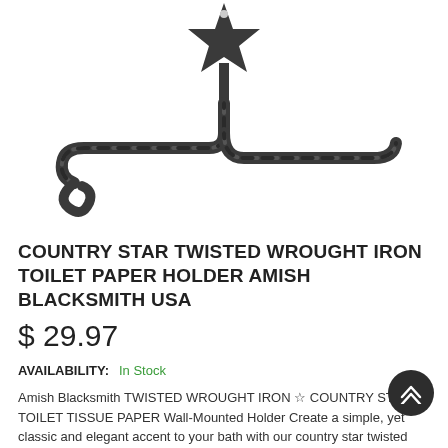[Figure (photo): Country Star Twisted Wrought Iron Toilet Paper Holder — a dark/black wrought iron wall-mounted holder with a star-shaped decorative top piece and a twisted spiral arm forming a C-curve to hold the paper roll, with a small curl at the left end.]
COUNTRY STAR TWISTED WROUGHT IRON TOILET PAPER HOLDER AMISH BLACKSMITH USA
$ 29.97
AVAILABILITY: In Stock
Amish Blacksmith TWISTED WROUGHT IRON ☆ COUNTRY STAR ☆ TOILET TISSUE PAPER Wall-Mounted Holder Create a simple, yet classic and elegant accent to your bath with our country star twisted wrought iron bathroom accessories. Fabulous wall mount toilet paper holder...